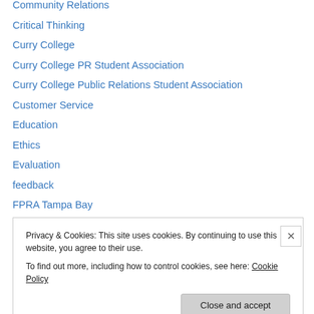Community Relations
Critical Thinking
Curry College
Curry College PR Student Association
Curry College Public Relations Student Association
Customer Service
Education
Ethics
Evaluation
feedback
FPRA Tampa Bay
Global Listening Centre
Graduate Communication
Inspiration
Privacy & Cookies: This site uses cookies. By continuing to use this website, you agree to their use.
To find out more, including how to control cookies, see here: Cookie Policy